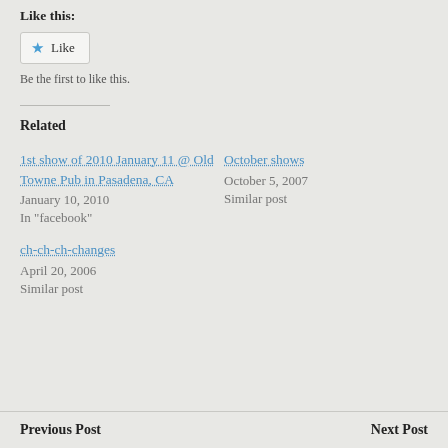Like this:
[Figure (screenshot): Like button widget with blue star icon and 'Like' text]
Be the first to like this.
Related
1st show of 2010 January 11 @ Old Towne Pub in Pasadena, CA
January 10, 2010
In "facebook"
October shows
October 5, 2007
Similar post
ch-ch-ch-changes
April 20, 2006
Similar post
Previous Post    Next Post